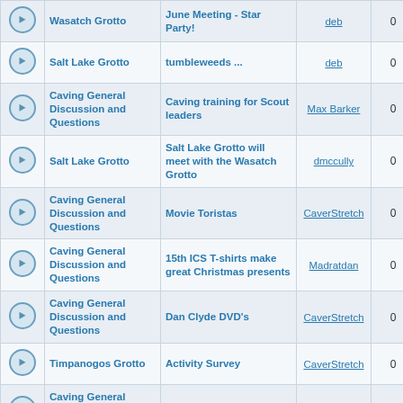|  | Forum | Topic | Author | Replies | Views |
| --- | --- | --- | --- | --- | --- |
|  | Wasatch Grotto | June Meeting - Star Party! | deb | 0 | 17175 |
|  | Salt Lake Grotto | tumbleweeds ... | deb | 0 | 17855 |
|  | Caving General Discussion and Questions | Caving training for Scout leaders | Max Barker | 0 | 19010 |
|  | Salt Lake Grotto | Salt Lake Grotto will meet with the Wasatch Grotto | dmccully | 0 | 18884 |
|  | Caving General Discussion and Questions | Movie Toristas | CaverStretch | 0 | 19608 |
|  | Caving General Discussion and Questions | 15th ICS T-shirts make great Christmas presents | Madratdan | 0 | 19314 |
|  | Caving General Discussion and Questions | Dan Clyde DVD's | CaverStretch | 0 | 18617 |
|  | Timpanogos Grotto | Activity Survey | CaverStretch | 0 | 18629 |
|  | Caving General Discussion and Questions | Jon Jasper Tribute | CaverStretch | 0 | 20147 |
|  | Caving General Discussion and Questions | New Email Address | nsscaver | 0 | 18931 |